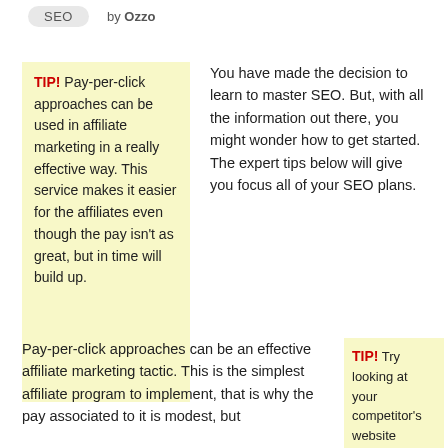SEO  by Ozzo
TIP! Pay-per-click approaches can be used in affiliate marketing in a really effective way. This service makes it easier for the affiliates even though the pay isn't as great, but in time will build up.
You have made the decision to learn to master SEO. But, with all the information out there, you might wonder how to get started. The expert tips below will give you focus all of your SEO plans.
Pay-per-click approaches can be an effective affiliate marketing tactic. This is the simplest affiliate program to implement, that is why the pay associated to it is modest, but
TIP! Try looking at your competitor's website source codes. This helps you learn how SEO is used by others and the keywords being targeted.